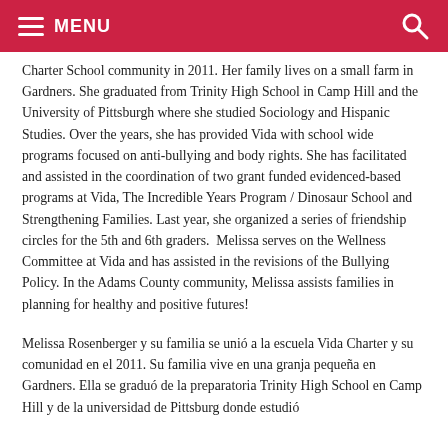MENU
Melissa Rosenberger and her family joined the Vida Charter School community in 2011. Her family lives on a small farm in Gardners. She graduated from Trinity High School in Camp Hill and the University of Pittsburgh where she studied Sociology and Hispanic Studies. Over the years, she has provided Vida with school wide programs focused on anti-bullying and body rights. She has facilitated and assisted in the coordination of two grant funded evidenced-based programs at Vida, The Incredible Years Program / Dinosaur School and Strengthening Families. Last year, she organized a series of friendship circles for the 5th and 6th graders. Melissa serves on the Wellness Committee at Vida and has assisted in the revisions of the Bullying Policy. In the Adams County community, Melissa assists families in planning for healthy and positive futures!
Melissa Rosenberger y su familia se unió a la escuela Vida Charter y su comunidad en el 2011. Su familia vive en una granja pequeña en Gardners. Ella se graduó de la preparatoria Trinity High School en Camp Hill y de la universidad de Pittsburg donde estudió